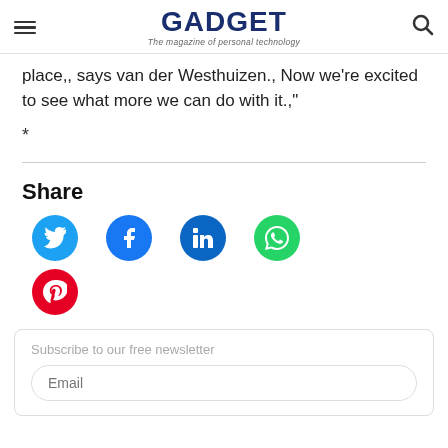GADGET — The magazine of personal technology
place,, says van der Westhuizen., Now we're excited to see what more we can do with it.,"
*
[Figure (infographic): Horizontal divider line]
Share
[Figure (infographic): Social share buttons: Twitter (cyan), Facebook (blue), LinkedIn (dark blue), WhatsApp (green), Pinterest (red)]
Subscribe to our free newsletter
Email